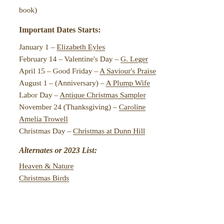book)
Important Dates Starts:
January 1 – Elizabeth Eyles
February 14 – Valentine's Day – G. Leger
April 15 – Good Friday – A Saviour's Praise
August 1 – (Anniversary) – A Plump Wife
Labor Day – Antique Christmas Sampler
November 24 (Thanksgiving) – Caroline Amelia Trowell
Christmas Day – Christmas at Dunn Hill
Alternates or 2023 List:
Heaven & Nature
Christmas Birds